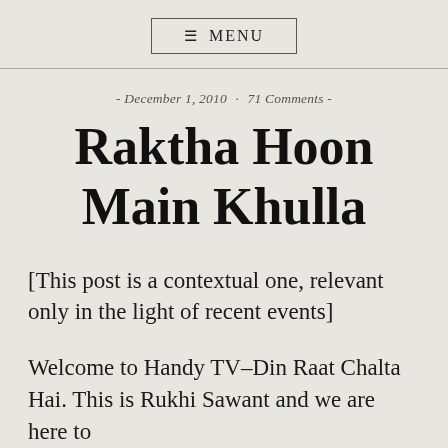≡ MENU
- December 1, 2010 · 71 Comments -
Raktha Hoon Main Khulla
[This post is a contextual one, relevant only in the light of recent events]
Welcome to Handy TV–Din Raat Chalta Hai. This is Rukhi Sawant and we are here to